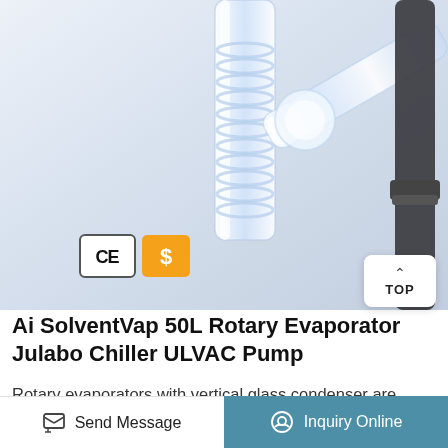[Figure (photo): Close-up photo of a glass rotary evaporator condenser assembly with spiral glass tubing, viewed from below-angle, light blue-gray gradient background. CE mark and Alibaba Gold Supplier (S) badges visible in lower left of image.]
Ai SolventVap 50L Rotary Evaporator Julabo Chiller ULVAC Pump
Rotary evaporators with vertical glass condenser are great for distillation of solvents with higher boiling points. Features. Dual receiving flask comes standard, a $1,700 value; Now includes a stainless steel 50L evaporating flask carrier with
Send Message
Inquiry Online